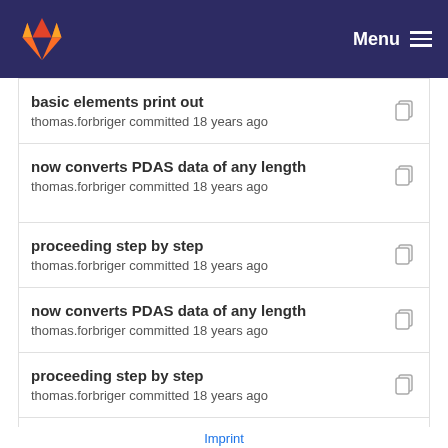GitLab — Menu
basic elements print out
thomas.forbriger committed 18 years ago
now converts PDAS data of any length
thomas.forbriger committed 18 years ago
proceeding step by step
thomas.forbriger committed 18 years ago
now converts PDAS data of any length
thomas.forbriger committed 18 years ago
proceeding step by step
thomas.forbriger committed 18 years ago
now converts PDAS data of any length
thomas.forbriger committed 18 years ago
proceeding step by step
Imprint